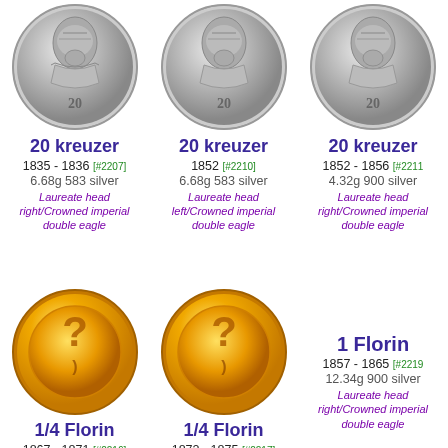[Figure (photo): Silver coin showing crowned imperial double eagle, 20 kreuzer]
20 kreuzer
1835 - 1836 [#2207]
6.68g 583 silver
Laureate head right/Crowned imperial double eagle
[Figure (photo): Silver coin showing crowned imperial double eagle, 20 kreuzer]
20 kreuzer
1852 [#2210]
6.68g 583 silver
Laureate head left/Crowned imperial double eagle
[Figure (photo): Silver coin showing crowned imperial double eagle, 20 kreuzer]
20 kreuzer
1852 - 1856 [#2211]
4.32g 900 silver
Laureate head right/Crowned imperial double eagle
[Figure (illustration): Gold coin placeholder with question mark, 1/4 Florin]
1/4 Florin
1867 - 1871 [#2216]
5.35g 520 silver
[Figure (illustration): Gold coin placeholder with question mark, 1/4 Florin]
1/4 Florin
1872 - 1875 [#2217]
5.35g 520 silver
1 Florin
1857 - 1865 [#2219]
12.34g 900 silver
Laureate head right/Crowned imperial double eagle